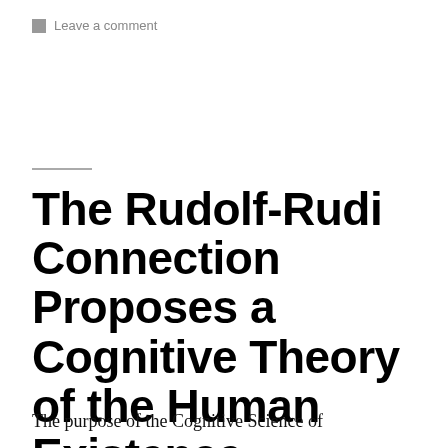Leave a comment
The Rudolf-Rudi Connection Proposes a Cognitive Theory of the Human Existence.
The purpose of the Cognitive Science of